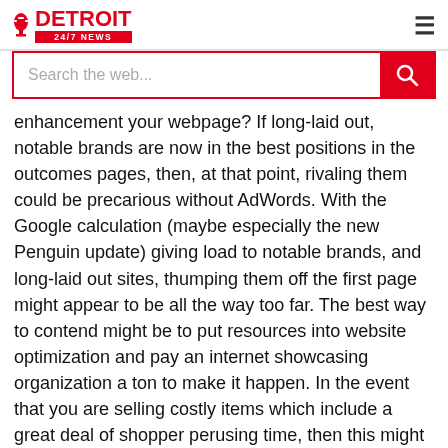DETROIT 24/7 NEWS
Search the web...
enhancement your webpage? If long-laid out, notable brands are now in the best positions in the outcomes pages, then, at that point, rivaling them could be precarious without AdWords. With the Google calculation (maybe especially the new Penguin update) giving load to notable brands, and long-laid out sites, thumping them off the first page might appear to be all the way too far. The best way to contend might be to put resources into website optimization and pay an internet showcasing organization a ton to make it happen. In the event that you are selling costly items which include a great deal of shopper perusing time, then this might be an advantageous speculation. Be that as it may, on the off chance that you are selling items like blossoms and extravagance chocolate boxes, AdWords might be the